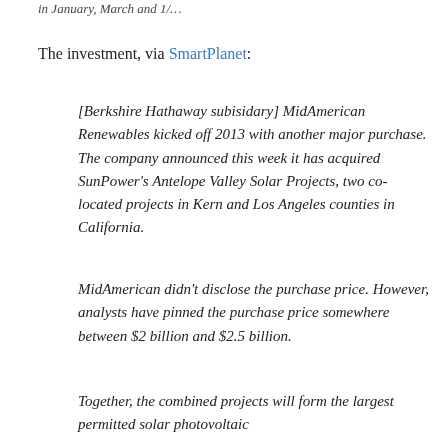in January, March and 1/…
The investment, via SmartPlanet:
[Berkshire Hathaway subisidary] MidAmerican Renewables kicked off 2013 with another major purchase. The company announced this week it has acquired SunPower's Antelope Valley Solar Projects, two co-located projects in Kern and Los Angeles counties in California.
MidAmerican didn't disclose the purchase price. However, analysts have pinned the purchase price somewhere between $2 billion and $2.5 billion.
Together, the combined projects will form the largest permitted solar photovoltaic